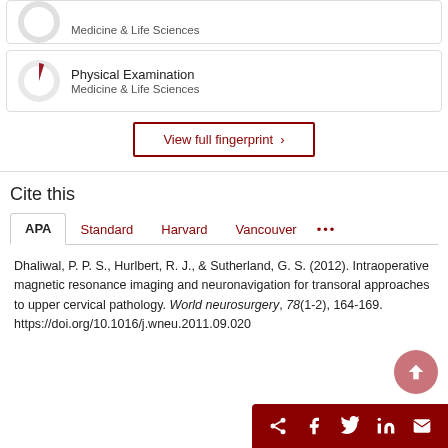[Figure (infographic): Circular donut/fingerprint chart for 'Medicine & Life Sciences' (partial, top of page, cropped)]
[Figure (infographic): Circular donut/fingerprint chart for 'Physical Examination', Medicine & Life Sciences — small red wedge near top]
Physical Examination
Medicine & Life Sciences
View full fingerprint ›
Cite this
APA
Standard
Harvard
Vancouver
•••
Dhaliwal, P. P. S., Hurlbert, R. J., & Sutherland, G. S. (2012). Intraoperative magnetic resonance imaging and neuronavigation for transoral approaches to upper cervical pathology. World neurosurgery, 78(1-2), 164-169. https://doi.org/10.1016/j.wneu.2011.09.020